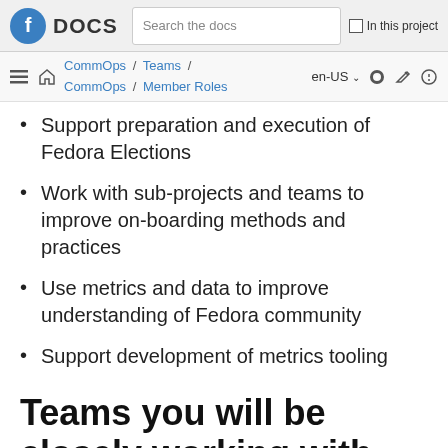DOCS | Search the docs | In this project
CommOps / Teams / CommOps / Member Roles | en-US
Support preparation and execution of Fedora Elections
Work with sub-projects and teams to improve on-boarding methods and practices
Use metrics and data to improve understanding of Fedora community
Support development of metrics tooling
Teams you will be closely working with